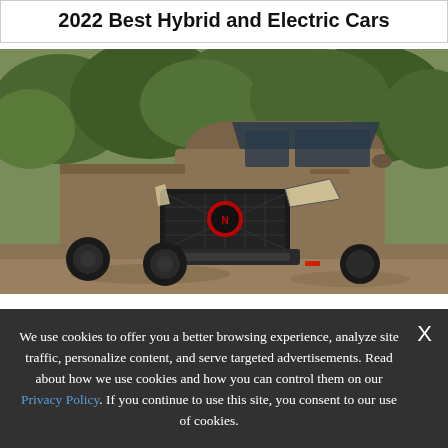2022 Best Hybrid and Electric Cars
[Figure (photo): A tan/brown Nissan Frontier pickup truck on a dirt off-road trail with green trees in the background. Front three-quarter view showing the grille and headlights prominently.]
We use cookies to offer you a better browsing experience, analyze site traffic, personalize content, and serve targeted advertisements. Read about how we use cookies and how you can control them on our Privacy Policy. If you continue to use this site, you consent to our use of cookies.